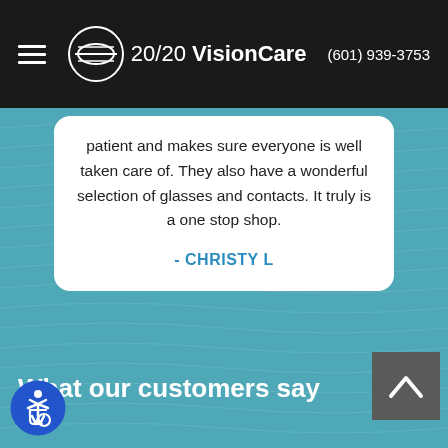20/20 VisionCare  (601) 939-3753
patient and makes sure everyone is well taken care of. They also have a wonderful selection of glasses and contacts. It truly is a one stop shop.
- CHRISTY L
[Figure (other): Carousel pagination: one active yellow pill indicator and one inactive white circle dot]
What our customers say
[Figure (other): Back to top arrow button, dark gray square with white caret/arrow pointing up]
[Figure (other): Accessibility icon - blue circle with wheelchair user symbol]